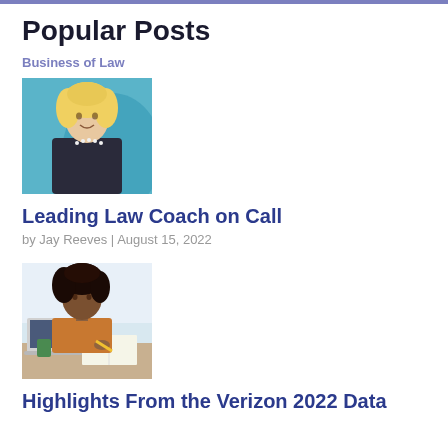Popular Posts
Business of Law
[Figure (photo): Portrait photo of a woman with blonde curly hair, wearing a dark top and pearl necklace, smiling, with a blue background]
Leading Law Coach on Call
by Jay Reeves | August 15, 2022
[Figure (photo): Photo of a young woman with curly dark hair, wearing a brown sweater, sitting at a desk writing in a notebook with a laptop open]
Highlights From the Verizon 2022 Data